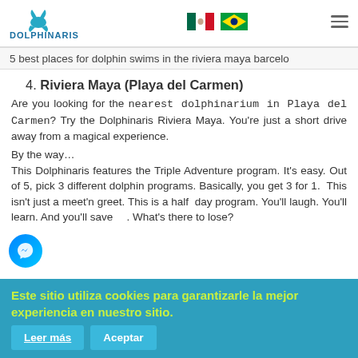Dolphinaris — CONNECTING WITH THE OCEAN [logo header with flags and hamburger menu]
5 best places for dolphin swims in the riviera maya barcelo
4. Riviera Maya (Playa del Carmen)
Are you looking for the nearest dolphinarium in Playa del Carmen? Try the Dolphinaris Riviera Maya. You’re just a short drive away from a magical experience.
By the way…
This Dolphinaris features the Triple Adventure program. It’s easy. Out of 5, pick 3 different dolphin programs. Basically, you get 3 for 1.  This isn’t just a meet’n greet. This is a half day program. You’ll laugh. You’ll learn. And you’ll save …. What’s there to lose?
Este sitio utiliza cookies para garantizarle la mejor experiencia en nuestro sitio.
Leer más
Aceptar